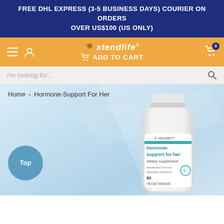FREE DHL EXPRESS (3-5 BUSINESS DAYS) COURIER ON ORDERS OVER US$100 (US ONLY)
[Figure (screenshot): Xtendlife website navigation bar with orange ADD TO CART button and cart icon]
[Figure (screenshot): Search bar with placeholder text 'I'm looking for...']
Home › Hormone-Support For Her
[Figure (photo): Xtendlife Hormone-Support For Her dietary supplement bottle, white plastic bottle with teal label, 90 vegetarian capsules, on light blue gradient background with Top button circle]